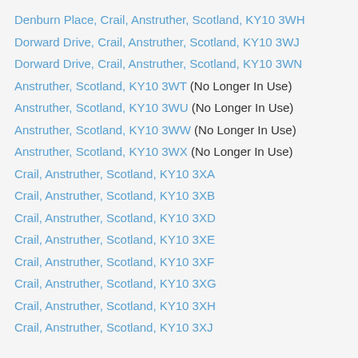Denburn Place, Crail, Anstruther, Scotland, KY10 3WH
Dorward Drive, Crail, Anstruther, Scotland, KY10 3WJ
Dorward Drive, Crail, Anstruther, Scotland, KY10 3WN
Anstruther, Scotland, KY10 3WT (No Longer In Use)
Anstruther, Scotland, KY10 3WU (No Longer In Use)
Anstruther, Scotland, KY10 3WW (No Longer In Use)
Anstruther, Scotland, KY10 3WX (No Longer In Use)
Crail, Anstruther, Scotland, KY10 3XA
Crail, Anstruther, Scotland, KY10 3XB
Crail, Anstruther, Scotland, KY10 3XD
Crail, Anstruther, Scotland, KY10 3XE
Crail, Anstruther, Scotland, KY10 3XF
Crail, Anstruther, Scotland, KY10 3XG
Crail, Anstruther, Scotland, KY10 3XH
Crail, Anstruther, Scotland, KY10 3XJ